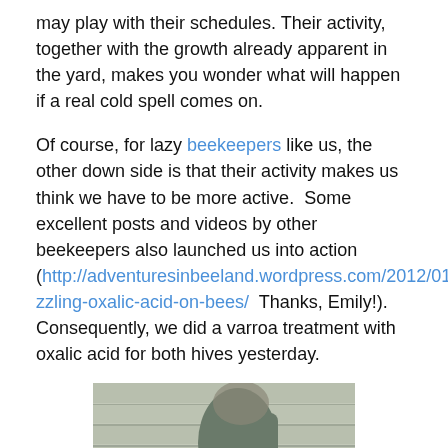may play with their schedules. Their activity, together with the growth already apparent in the yard, makes you wonder what will happen if a real cold spell comes on.
Of course, for lazy beekeepers like us, the other down side is that their activity makes us think we have to be more active.  Some excellent posts and videos by other beekeepers also launched us into action (http://adventuresinbeeland.wordpress.com/2012/01/01/drizzling-oxalic-acid-on-bees/  Thanks, Emily!). Consequently, we did a varroa treatment with oxalic acid for both hives yesterday.
[Figure (photo): Photo of a person wearing blue gloves performing a varroa treatment on a beehive, outdoors near a wooden fence]